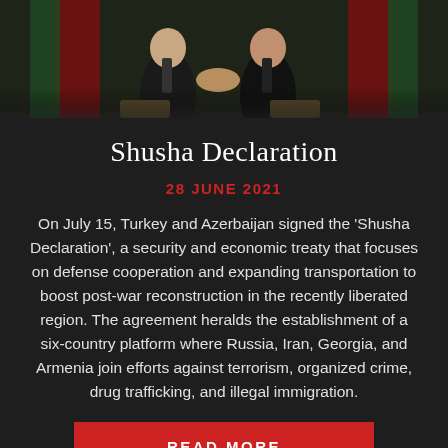[Figure (photo): Two figures shaking hands, likely officials, with flags in the background (red and green flags visible). Photo appears to be from an official ceremony.]
Shusha Declaration
28 JUNE 2021
On July 15, Turkey and Azerbaijan signed the ‘Shusha Declaration’, a security and economic treaty that focuses on defense cooperation and expanding transportation to boost post-war reconstruction in the recently liberated region. The agreement heralds the establishment of a six-country platform where Russia, Iran, Georgia, and Armenia join efforts against terrorism, organized crime, drug trafficking, and illegal immigration.
READ MORE
READ MORE